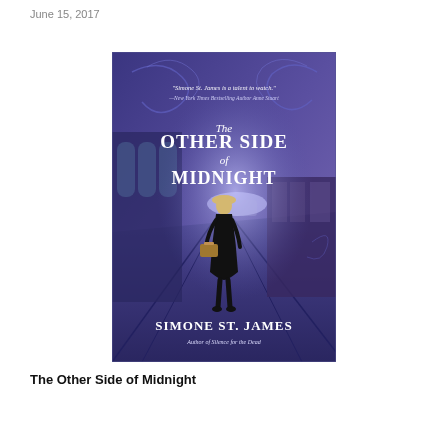June 15, 2017
[Figure (illustration): Book cover of 'The Other Side of Midnight' by Simone St. James. A woman in a black dress and hat walks away on a train platform, carrying a suitcase. The background is a purple-blue atmospheric train station. Text on cover includes a blurb: 'Simone St. James is a talent to watch.' —New York Times Bestselling Author Anne Stuart. Author tagline: Author of Silence for the Dead.]
The Other Side of Midnight